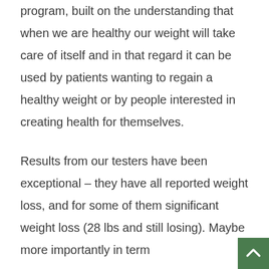program, built on the understanding that when we are healthy our weight will take care of itself and in that regard it can be used by patients wanting to regain a healthy weight or by people interested in creating health for themselves.

Results from our testers have been exceptional – they have all reported weight loss, and for some of them significant weight loss (28 lbs and still losing). Maybe more importantly in term